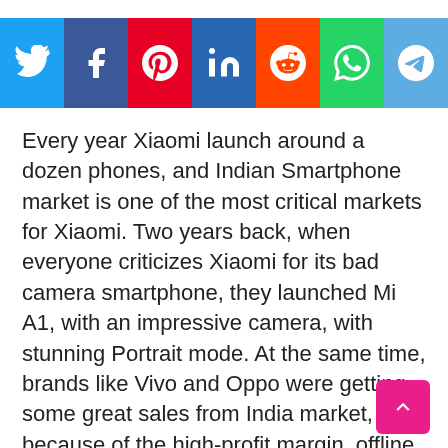[Figure (infographic): Social media share buttons bar: Twitter (blue), Facebook (dark blue), Pinterest (red), LinkedIn (blue), Reddit (orange-red), WhatsApp (green), Telegram (light blue)]
Every year Xiaomi launch around a dozen phones, and Indian Smartphone market is one of the most critical markets for Xiaomi. Two years back, when everyone criticizes Xiaomi for its bad camera smartphone, they launched Mi A1, with an impressive camera, with stunning Portrait mode. At the same time, brands like Vivo and Oppo were getting some great sales from India market, because of the high-profit margin, offline centered sales, and Selfie centric phone.